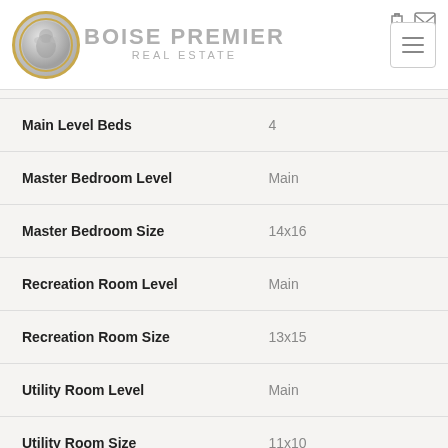[Figure (logo): Boise Premier Real Estate logo with lion emblem in gold circle and text]
| Property Feature | Value |
| --- | --- |
| Main Level Beds | 4 |
| Master Bedroom Level | Main |
| Master Bedroom Size | 14x16 |
| Recreation Room Level | Main |
| Recreation Room Size | 13x15 |
| Utility Room Level | Main |
| Utility Room Size | 11x10 |